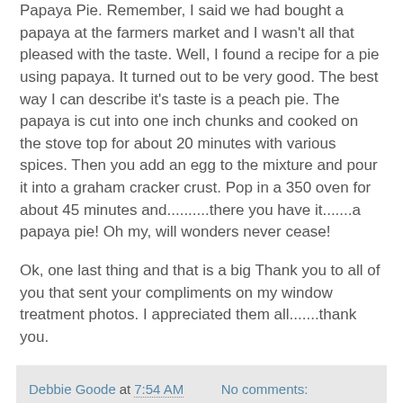Papaya Pie. Remember, I said we had bought a papaya at the farmers market and I wasn't all that pleased with the taste. Well, I found a recipe for a pie using papaya. It turned out to be very good. The best way I can describe it's taste is a peach pie. The papaya is cut into one inch chunks and cooked on the stove top for about 20 minutes with various spices. Then you add an egg to the mixture and pour it into a graham cracker crust. Pop in a 350 oven for about 45 minutes and..........there you have it.......a papaya pie! Oh my, will wonders never cease!
Ok, one last thing and that is a big Thank you to all of you that sent your compliments on my window treatment photos. I appreciated them all.......thank you.
Debbie Goode at 7:54 AM   No comments:
Thursday, March 5, 2009
March 4, 2009
[Figure (photo): Thumbnail image at bottom of page, partially visible]